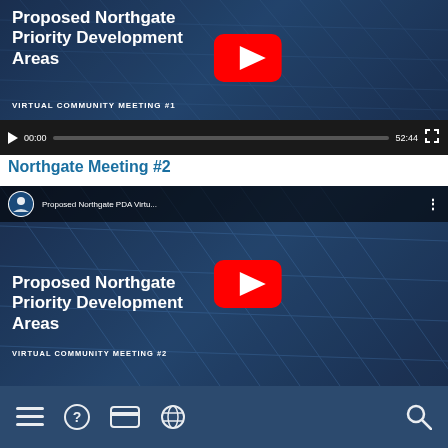[Figure (screenshot): YouTube video thumbnail for 'Proposed Northgate Priority Development Areas - Virtual Community Meeting #1' with play button and video controls showing 00:00 / 52:44]
Northgate Meeting #2
[Figure (screenshot): YouTube video thumbnail for 'Proposed Northgate PDA Virtu...' / 'Proposed Northgate Priority Development Areas - Virtual Community Meeting #2' with red play button]
[Figure (screenshot): Bottom navigation bar with hamburger menu, help, credit card, globe, and search icons on dark blue background]